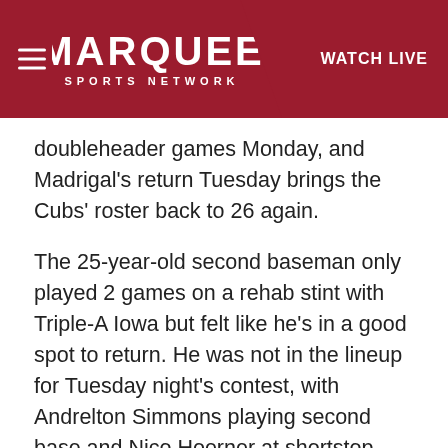MARQUEE SPORTS NETWORK | WATCH LIVE
doubleheader games Monday, and Madrigal's return Tuesday brings the Cubs' roster back to 26 again.
The 25-year-old second baseman only played 2 games on a rehab stint with Triple-A Iowa but felt like he's in a good spot to return. He was not in the lineup for Tuesday night's contest, with Andrelton Simmons playing second base and Nico Hoerner at shortstop.
Shortly before Madrigal went on his rehab assignment, he and the Cubs trainers turned a corner and his back injury finally loosened up.
Now he sets about trying to regain his rhythm